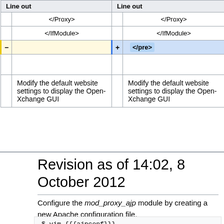| Line out | Line out |
| --- | --- |
| </Proxy> | </Proxy> |
| </IfModule> | </IfModule> |
| − | + </pre> |
|  |  |
| Modify the default website settings to display the Open-Xchange GUI | Modify the default website settings to display the Open-Xchange GUI |
Revision as of 14:02, 8 October 2012
Configure the mod_proxy_ajp module by creating a new Apache configuration file.
$ vim {{{ajpconf}}}